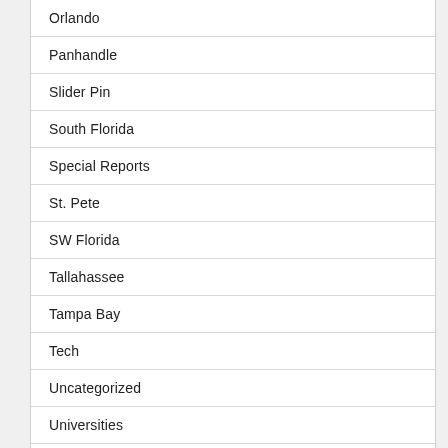Orlando
Panhandle
Slider Pin
South Florida
Special Reports
St. Pete
SW Florida
Tallahassee
Tampa Bay
Tech
Uncategorized
Universities
Vaccine